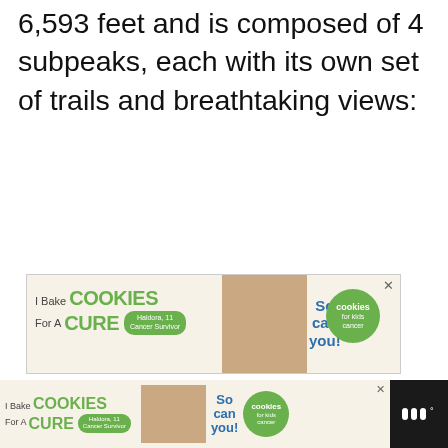6,593 feet and is composed of 4 subpeaks, each with its own set of trails and breathtaking views:
[Figure (screenshot): Advertisement banner: I Bake COOKIES For A CURE – Haldora, 11 Cancer Survivor – So can you! – cookies for kids cancer logo]
[Figure (screenshot): Bottom advertisement bar with same cookies for kids cancer ad and website logo on dark background]